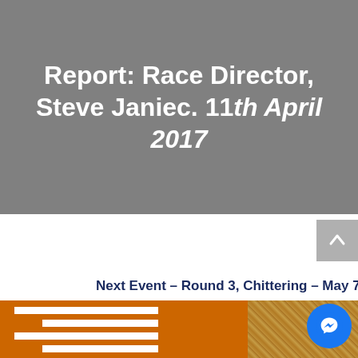Report: Race Director, Steve Janiec. 11th April 2017
Next Event – Round 3, Chittering – May 7
[Figure (other): Orange panel with white horizontal lines and earth-toned textured panel on right, partially visible letter A]